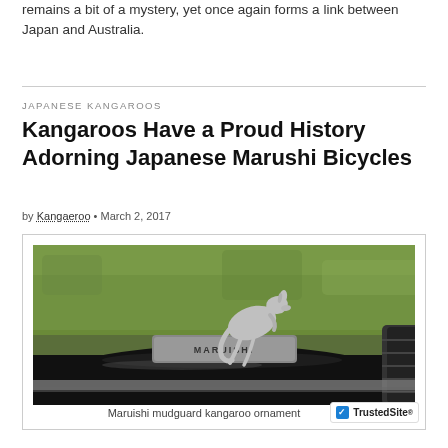remains a bit of a mystery, yet once again forms a link between Japan and Australia.
JAPANESE KANGAROOS
Kangaroos Have a Proud History Adorning Japanese Marushi Bicycles
by Kangaeroo • March 2, 2017
[Figure (photo): Close-up photo of a Maruishi bicycle mudguard with a silver kangaroo ornament on top, against a green grass background]
Maruishi mudguard kangaroo ornament